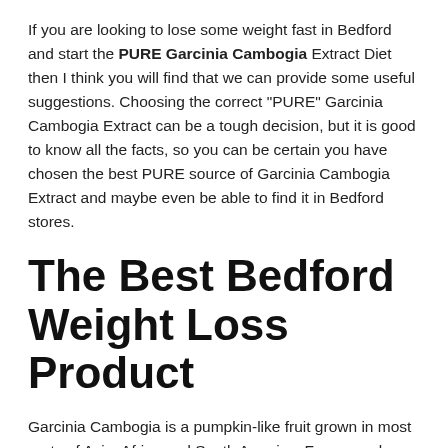If you are looking to lose some weight fast in Bedford and start the PURE Garcinia Cambogia Extract Diet then I think you will find that we can provide some useful suggestions. Choosing the correct "PURE" Garcinia Cambogia Extract can be a tough decision, but it is good to know all the facts, so you can be certain you have chosen the best PURE source of Garcinia Cambogia Extract and maybe even be able to find it in Bedford stores.
The Best Bedford Weight Loss Product
Garcinia Cambogia is a pumpkin-like fruit grown in most parts of Asia, Africa and South America. For several decades, this nutritious fruit has been useful in the life of people who wish to shed some extra fats Fast! Prior to advancements in technology which have made extractions possible, this fruit was used as a spice in the preparation of local dishes because its aroma was said to reduce hunger pang intervals in humans. In some Asian countries such as Malaysia and Indonesia, this fruit was eaten raw for the same purpose. Though the working